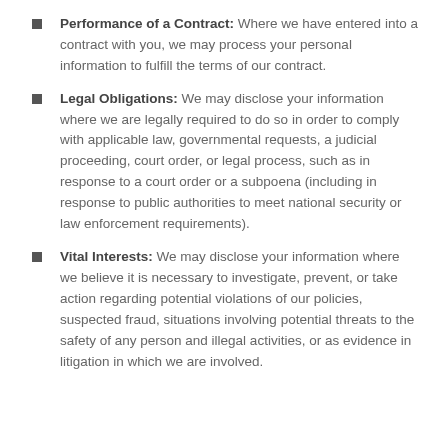it is reasonably necessary to achieve our legitimate business interests.
Performance of a Contract: Where we have entered into a contract with you, we may process your personal information to fulfill the terms of our contract.
Legal Obligations: We may disclose your information where we are legally required to do so in order to comply with applicable law, governmental requests, a judicial proceeding, court order, or legal process, such as in response to a court order or a subpoena (including in response to public authorities to meet national security or law enforcement requirements).
Vital Interests: We may disclose your information where we believe it is necessary to investigate, prevent, or take action regarding potential violations of our policies, suspected fraud, situations involving potential threats to the safety of any person and illegal activities, or as evidence in litigation in which we are involved.